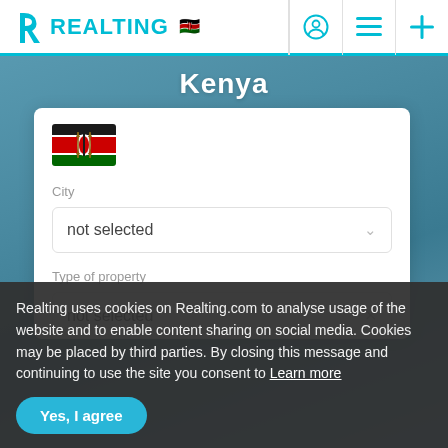REALTING [Kenya flag] [user icon] [menu icon] [plus icon]
Kenya
[Figure (illustration): Kenya flag emoji inside white card]
City
not selected
Type of property
not selected
Realting uses cookies on Realting.com to analyse usage of the website and to enable content sharing on social media. Cookies may be placed by third parties. By closing this message and continuing to use the site you consent to Learn more
Yes, I agree